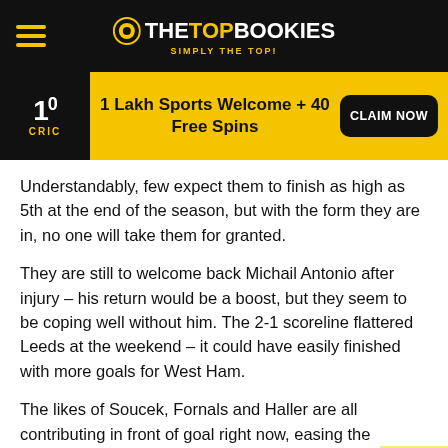THE TOP BOOKIES — SIMPLY THE TOP!
[Figure (infographic): 10Cric promotional banner: 1 Lakh Sports Welcome + 40 Free Spins with CLAIM NOW button]
Understandably, few expect them to finish as high as 5th at the end of the season, but with the form they are in, no one will take them for granted.
They are still to welcome back Michail Antonio after injury – his return would be a boost, but they seem to be coping well without him. The 2-1 scoreline flattered Leeds at the weekend – it could have easily finished with more goals for West Ham.
The likes of Soucek, Fornals and Haller are all contributing in front of goal right now, easing the pressure on Moyes with his main striker out injured.